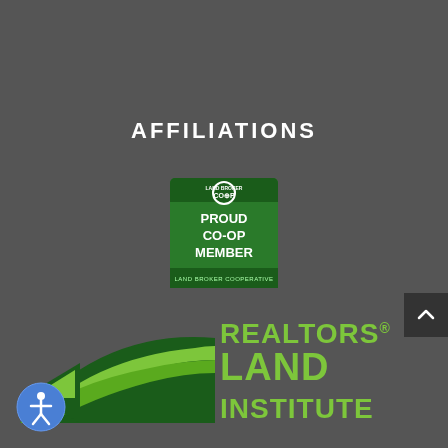AFFILIATIONS
[Figure (logo): Land Broker Co-op badge: green square badge with co-op symbol and text 'PROUD CO-OP MEMBER' and 'LAND BROKER COOPERATIVE']
[Figure (logo): Realtors Land Institute logo: green sweeping landscape graphic on left with text 'REALTORS LAND INSTITUTE' in green on right]
[Figure (other): Accessibility icon button: blue circle with white person/accessibility symbol]